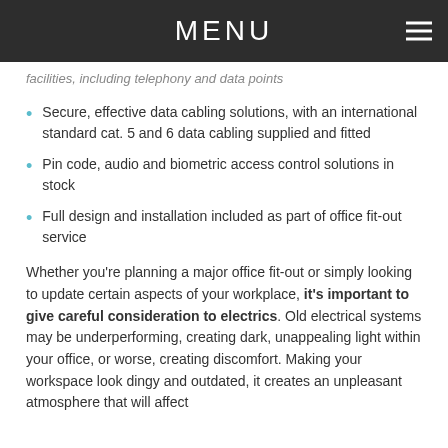MENU
facilities, including telephony and data points
Secure, effective data cabling solutions, with an international standard cat. 5 and 6 data cabling supplied and fitted
Pin code, audio and biometric access control solutions in stock
Full design and installation included as part of office fit-out service
Whether you're planning a major office fit-out or simply looking to update certain aspects of your workplace, it's important to give careful consideration to electrics. Old electrical systems may be underperforming, creating dark, unappealing light within your office, or worse, creating discomfort. Making your workspace look dingy and outdated, it creates an unpleasant atmosphere that will affect